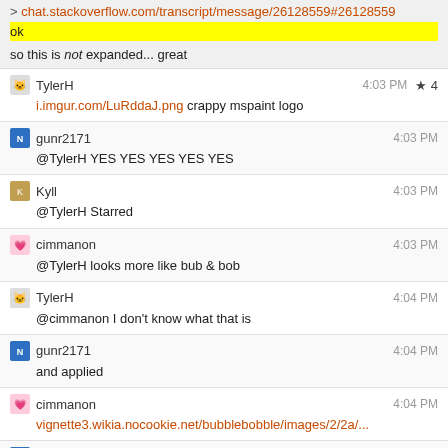> chat.stackoverflow.com/transcript/message/26128559#26128559
ok
so this is not expanded... great
TylerH  4:03 PM  i.imgur.com/LuRddaJ.png crappy mspaint logo  ★4
gunr2171  4:03 PM  @TylerH YES YES YES YES YES
Kyll  4:03 PM  @TylerH Starred
cimmanon  4:03 PM  @TylerH looks more like bub & bob
TylerH  4:04 PM  @cimmanon I don't know what that is
gunr2171  4:04 PM  and applied
cimmanon  4:04 PM  vignette3.wikia.nocookie.net/bubblebobble/images/2/2a/...
gunr2171  4:04 PM  invitation sent to @Siguza